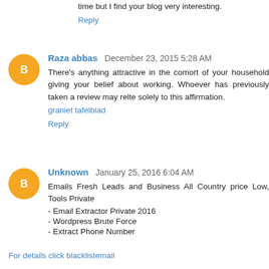time but I find your blog very interesting.
Reply
Raza abbas  December 23, 2015 5:28 AM
There's anything attractive in the comort of your household giving your belief about working. Whoever has previously taken a review may relte solely to this affirmation.
graniet tafelblad
Reply
Unknown  January 25, 2016 6:04 AM
Emails Fresh Leads and Business All Country price Low, Tools Private
- Email Extractor Private 2016
- Wordpress Brute Force
- Extract Phone Number
For details click blacklistemail